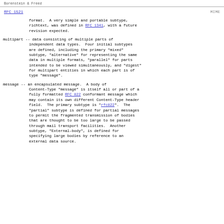Borenstein & Freed                                                      RFC 1521   MIME
format.  A very simple and portable subtype, richtext, was defined in RFC 1341, with a future revision expected.
multipart -- data consisting of multiple parts of independent data types.  Four initial subtypes are defined, including the primary "mixed" subtype, "alternative" for representing the same data in multiple formats, "parallel" for parts intended to be viewed simultaneously, and "digest" for multipart entities in which each part is of type "message".
message -- an encapsulated message.  A body of Content-Type "message" is itself all or part of a fully formatted RFC 822 conformant message which may contain its own different Content-Type header field.  The primary subtype is "rfc822".  The "partial" subtype is defined for partial messages to permit the fragmented transmission of bodies that are thought to be too large to be passed through mail transport facilities.  Another subtype, "External-body", is defined for specifying large bodies by reference to an external data source.